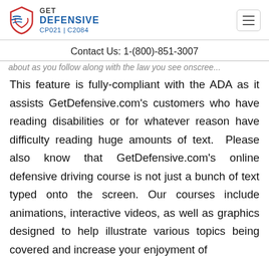GET DEFENSIVE CP021 | C2084
Contact Us: 1-(800)-851-3007
This feature is fully-compliant with the ADA as it assists GetDefensive.com's customers who have reading disabilities or for whatever reason have difficulty reading huge amounts of text.  Please also know that GetDefensive.com's online defensive driving course is not just a bunch of text typed onto the screen. Our courses include animations, interactive videos, as well as graphics designed to help illustrate various topics being covered and increase your enjoyment of